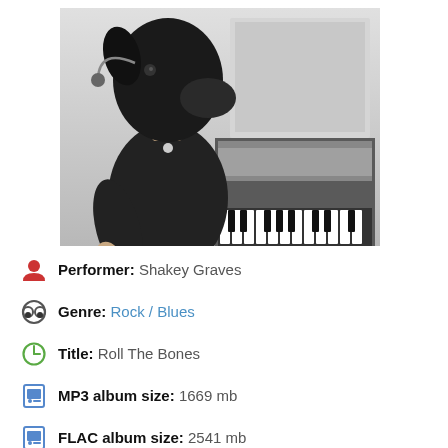[Figure (photo): Black and white photo of a person with a dog's head (surreal/composite image) wearing a black t-shirt and necklace, leaning over a piano keyboard.]
Performer: Shakey Graves
Genre: Rock / Blues
Title: Roll The Bones
MP3 album size: 1669 mb
FLAC album size: 2541 mb
Style: Texas Blues, Indie Rock